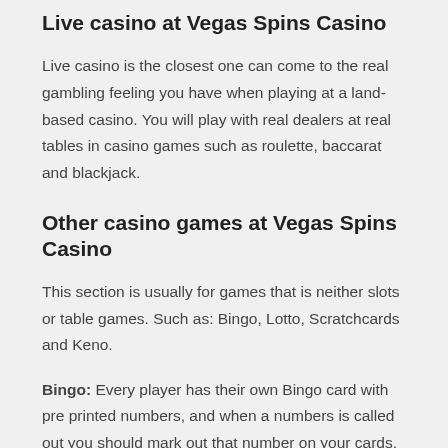Live casino at Vegas Spins Casino
Live casino is the closest one can come to the real gambling feeling you have when playing at a land-based casino. You will play with real dealers at real tables in casino games such as roulette, baccarat and blackjack.
Other casino games at Vegas Spins Casino
This section is usually for games that is neither slots or table games. Such as: Bingo, Lotto, Scratchcards and Keno.
Bingo: Every player has their own Bingo card with pre printed numbers, and when a numbers is called out you should mark out that number on your cards. When you have filled up a full row, whether it is horizontal, vertical or diagonal, you win - it's not harder than that. If you play online you obviously do not have to shout it